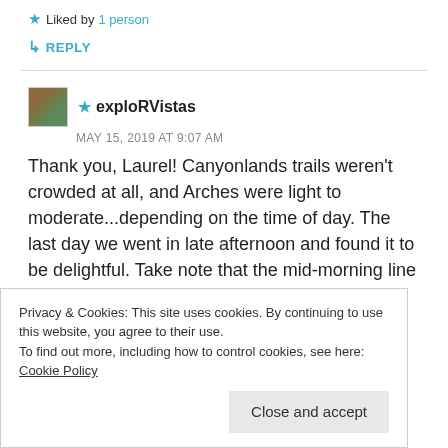★ Liked by 1 person
↳ REPLY
★ exploRVistas
MAY 15, 2019 AT 9:07 AM
Thank you, Laurel! Canyonlands trails weren't crowded at all, and Arches were light to moderate...depending on the time of day. The last day we went in late afternoon and found it to be delightful. Take note that the mid-morning line to get through the entrance station is as long as the queue for Space Mountain at Disney
Privacy & Cookies: This site uses cookies. By continuing to use this website, you agree to their use.
To find out more, including how to control cookies, see here: Cookie Policy
Close and accept